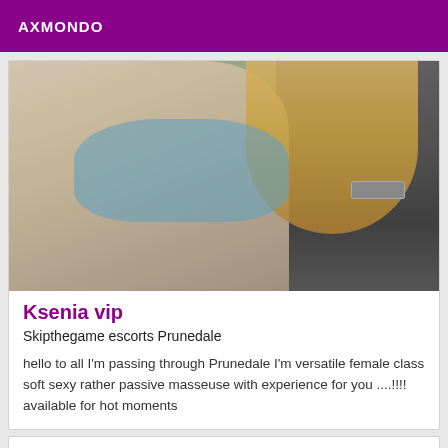AXMONDO
[Figure (photo): Photo of a blonde woman in a blue lace bra/bikini top, taking a selfie. Background shows a room with a laptop and phone on a surface.]
Ksenia vip
Skipthegame escorts Prunedale
hello to all I'm passing through Prunedale I'm versatile female class soft sexy rather passive masseuse with experience for you ....!!!! available for hot moments